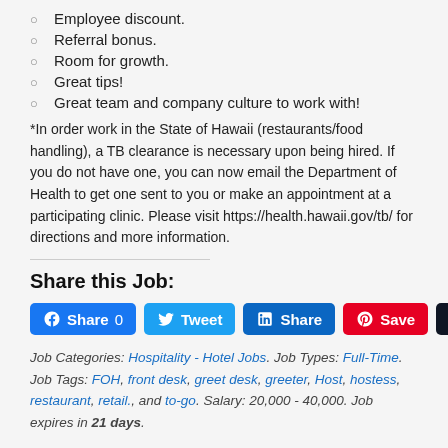Employee discount.
Referral bonus.
Room for growth.
Great tips!
Great team and company culture to work with!
*In order work in the State of Hawaii (restaurants/food handling), a TB clearance is necessary upon being hired. If you do not have one, you can now email the Department of Health to get one sent to you or make an appointment at a participating clinic. Please visit https://health.hawaii.gov/tb/ for directions and more information.
Share this Job:
Job Categories: Hospitality - Hotel Jobs. Job Types: Full-Time. Job Tags: FOH, front desk, greet desk, greeter, Host, hostess, restaurant, retail., and to-go. Salary: 20,000 - 40,000. Job expires in 21 days.